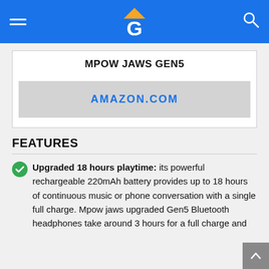Navigation bar with hamburger menu, logo (G with orange roof), and search icon
MPOW JAWS GEN5
AMAZON.COM
FEATURES
Upgraded 18 hours playtime: its powerful rechargeable 220mAh battery provides up to 18 hours of continuous music or phone conversation with a single full charge. Mpow jaws upgraded Gen5 Bluetooth headphones take around 3 hours for a full charge and